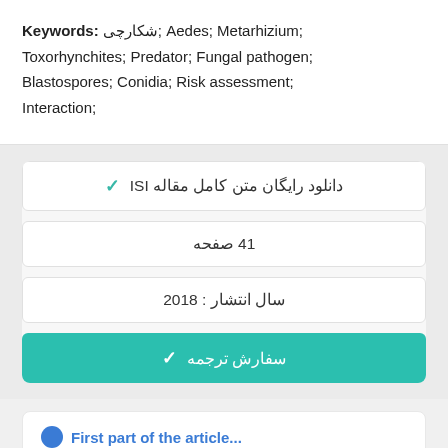Keywords: شکارچی; Aedes; Metarhizium; Toxorhynchites; Predator; Fungal pathogen; Blastospores; Conidia; Risk assessment; Interaction;
✔ دانلود رایگان متن کامل مقاله ISI
41 صفحه
سال انتشار : 2018
✔ سفارش ترجمه
First part of the article...